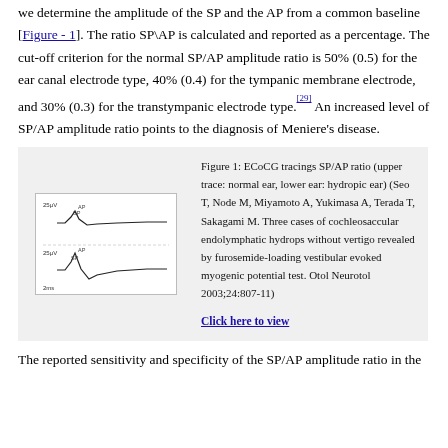we determine the amplitude of the SP and the AP from a common baseline [Figure - 1]. The ratio SP\AP is calculated and reported as a percentage. The cut-off criterion for the normal SP/AP amplitude ratio is 50% (0.5) for the ear canal electrode type, 40% (0.4) for the tympanic membrane electrode, and 30% (0.3) for the transtympanic electrode type.[29] An increased level of SP/AP amplitude ratio points to the diagnosis of Meniere's disease.
[Figure (illustration): ECoCG tracings showing SP/AP ratio waveforms. Upper trace: normal ear, lower trace: hydropic ear. Small thumbnail diagram with two waveform traces labeled with SP and AP markers.]
Figure 1: ECoCG tracings SP/AP ratio (upper trace: normal ear, lower ear: hydropic ear) (Seo T, Node M, Miyamoto A, Yukimasa A, Terada T, Sakagami M. Three cases of cochleosaccular endolymphatic hydrops without vertigo revealed by furosemide-loading vestibular evoked myogenic potential test. Otol Neurotol 2003;24:807-11) Click here to view
The reported sensitivity and specificity of the SP/AP amplitude ratio in the